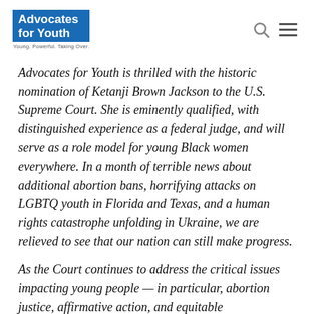Advocates for Youth — Young. Powerful. Taking Over.
Advocates for Youth is thrilled with the historic nomination of Ketanji Brown Jackson to the U.S. Supreme Court. She is eminently qualified, with distinguished experience as a federal judge, and will serve as a role model for young Black women everywhere. In a month of terrible news about additional abortion bans, horrifying attacks on LGBTQ youth in Florida and Texas, and a human rights catastrophe unfolding in Ukraine, we are relieved to see that our nation can still make progress.
As the Court continues to address the critical issues impacting young people — in particular, abortion justice, affirmative action, and equitable